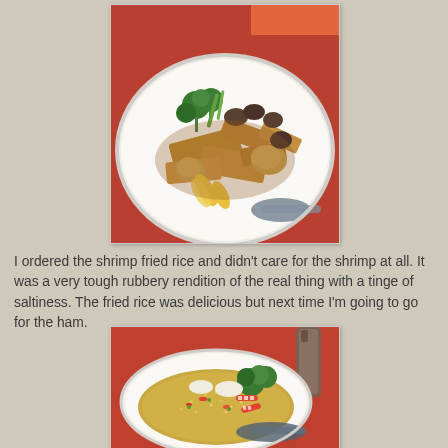[Figure (photo): A plate of Chinese stir-fried tofu and mixed vegetables including baby corn, broccoli, mushrooms, and other vegetables in brown sauce, served on a white plate with a red restaurant tablecloth background.]
I ordered the shrimp fried rice and didn't care for the shrimp at all.  It was a very tough rubbery rendition of the real thing with a tinge of saltiness.  The fried rice was delicious but next time I'm going to go for the ham.
[Figure (photo): A plate of shrimp fried rice with broccoli, colorful vegetables including red and white striped shrimp/garnishes, served on a white plate.]